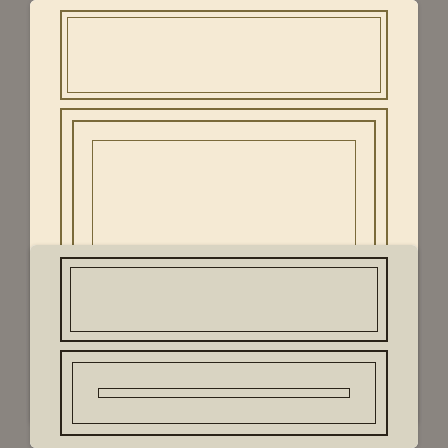[Figure (illustration): Cabinet door sample showing Buttercream finish - raised panel door with decorative molding detail, warm cream/yellow color with gold outline detail, showing top panel and larger bottom raised panel]
Buttercream
[Figure (illustration): Cabinet door sample showing a light grayish-beige/linen finish - raised panel door with dark outline detail, showing top drawer panel and lower raised panel section, partially visible]